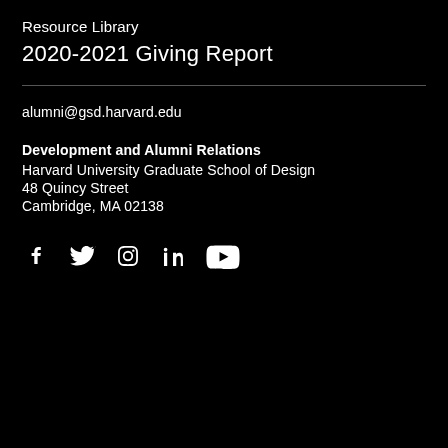Resource Library
2020-2021 Giving Report
alumni@gsd.harvard.edu
Development and Alumni Relations
Harvard University Graduate School of Design
48 Quincy Street
Cambridge, MA 02138
[Figure (illustration): Social media icons: Facebook, Twitter, Instagram, LinkedIn, YouTube]